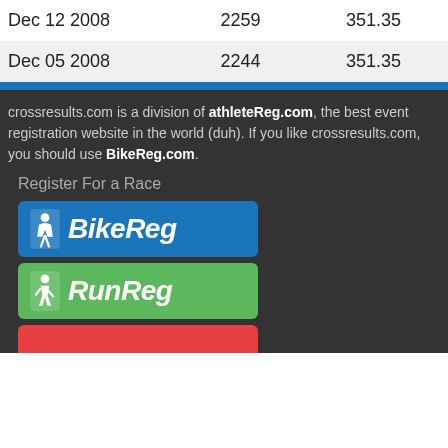| Dec 12 2008 | 2259 | 351.35 |
| Dec 05 2008 | 2244 | 351.35 |
crossresults.com is a division of athleteReg.com, the best event registration website in the world (duh). If you like crossresults.com, you should use BikeReg.com.
Register For a Race
[Figure (logo): BikeReg logo — white cyclist icon and italic white text 'BikeReg' on blue rounded rectangle]
[Figure (logo): RunReg logo — white runner icon and italic white text 'RunReg' on green rounded rectangle]
[Figure (logo): Partial red logo at bottom of page (cut off)]